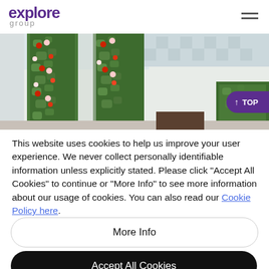explore group
[Figure (photo): Interior photo showing green plant walls with red and white roses/flowers decorating columns in a white interior space with checkered ceiling.]
This website uses cookies to help us improve your user experience. We never collect personally identifiable information unless explicitly stated. Please click "Accept All Cookies" to continue or "More Info" to see more information about our usage of cookies. You can also read our Cookie Policy here.
More Info
Accept All Cookies